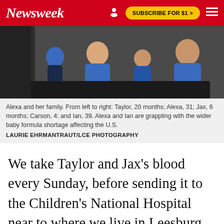Newsweek
[Figure (photo): Alexa and her family sitting together, adults and young children on chairs, wearing blue and dark clothing]
Alexa and her family. From left to right: Taylor, 20 months; Alexa, 31; Jax, 6 months; Carson, 4; and Ian, 39. Alexa and Ian are grappling with the wider baby formula shortage affecting the U.S.
LAURIE EHRMANTRAUT/LCE PHOTOGRAPHY
We take Taylor and Jax's blood every Sunday, before sending it to the Children's National Hospital near to where we live in Leesburg, Virginia. Doctors there test their phenylalanine levels, and a week later, we get their blood back. We need to know so we can ensure we're balancing their protein levels. You've got